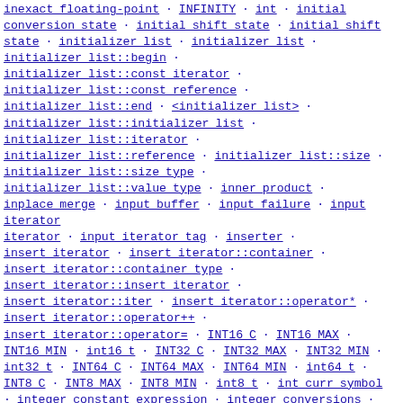inexact floating-point · INFINITY · int · initial conversion state · initial shift state · initial shift state · initializer list · initializer list · initializer list::begin · initializer list::const iterator · initializer list::const reference · initializer list::end · <initializer list> · initializer list::initializer list · initializer list::iterator · initializer list::reference · initializer list::size · initializer list::size type · initializer list::value type · inner product · inplace merge · input buffer · input failure · input iterator · input iterator tag · inserter · insert iterator · insert iterator::container · insert iterator::container type · insert iterator::insert iterator · insert iterator::iter · insert iterator::operator* · insert iterator::operator++ · insert iterator::operator= · INT16 C · INT16 MAX · INT16 MIN · int16 t · INT32 C · INT32 MAX · INT32 MIN · int32 t · INT64 C · INT64 MAX · INT64 MIN · int64 t · INT8 C · INT8 MAX · INT8 MIN · int8 t · int curr symbol · integer constant expression · integer conversions · integer input field · integer output field · integral type · integral constant · interactive files · internal · interrupted · INT FAST16 MAX · INT FAST16 MIN · int fast16 t · INT FAST32 MAX · INT FAST32 MIN · int fast32 t · INT FAST64 MAX · INT FAST64 MIN · int fast64 t · INT FAST8 MAX · INT FAST8 MIN · int fast8 t · int frac digits · int ldexp · int ldexpt